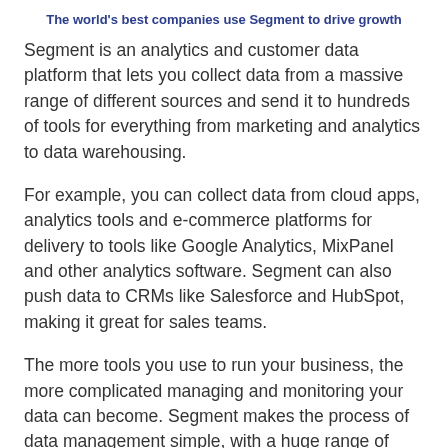The world's best companies use Segment to drive growth
Segment is an analytics and customer data platform that lets you collect data from a massive range of different sources and send it to hundreds of tools for everything from marketing and analytics to data warehousing.
For example, you can collect data from cloud apps, analytics tools and e-commerce platforms for delivery to tools like Google Analytics, MixPanel and other analytics software. Segment can also push data to CRMs like Salesforce and HubSpot, making it great for sales teams.
The more tools you use to run your business, the more complicated managing and monitoring your data can become. Segment makes the process of data management simple, with a huge range of integrations for hundreds of different apps and platforms.
Notion